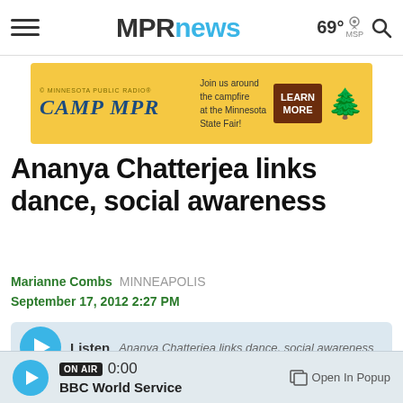MPRnews  69° MSP
[Figure (infographic): Camp MPR advertisement banner: orange/yellow background with 'CAMP MPR' logo, text 'Join us around the campfire at the Minnesota State Fair!', brown 'LEARN MORE' button, tree illustration]
Ananya Chatterjea links dance, social awareness
Marianne Combs  MINNEAPOLIS
September 17, 2012 2:27 PM
Listen  Ananya Chatterjea links dance, social awareness
Share
ON AIR 0:00 BBC World Service  Open In Popup